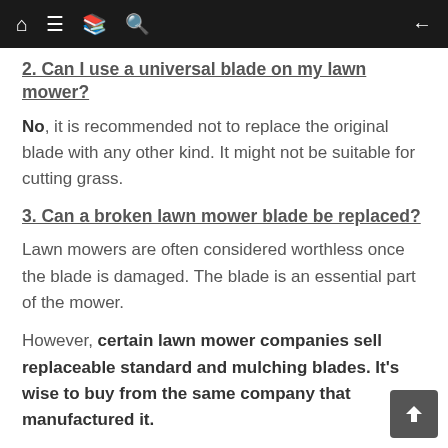navigation bar with home, menu, bookmark, search, and back icons
2. Can I use a universal blade on my lawn mower?
No, it is recommended not to replace the original blade with any other kind. It might not be suitable for cutting grass.
3. Can a broken lawn mower blade be replaced?
Lawn mowers are often considered worthless once the blade is damaged. The blade is an essential part of the mower.
However, certain lawn mower companies sell replaceable standard and mulching blades. It's wise to buy from the same company that manufactured it.
4. How will I know when the blades become dull?
Dull blades won't be able to trim the grass precise. Instead, it will pull on the grass and leave jagged